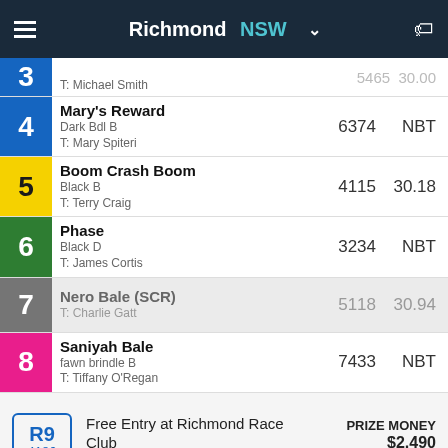Richmond NSW
3 — T: Michael Smith — 5465 30.00
4 Mary's Reward Dark Bdl B T: Mary Spiteri — 6374 NBT
5 Boom Crash Boom Black B T: Terry Craig — 4115 30.18
6 Phase Black D T: James Cortis — 3234 NBT
7 Nero Bale (SCR) T: Charlie Gatt — 5118 30.94
8 Saniyah Bale fawn brindle B T: Tiffany O'Regan — 7433 NBT
R9 4186 — Free Entry at Richmond Race Club — 4th/5th Grade 320m — PRIZE MONEY $2,490 — $1.6K - $500 - $390
| NAME | LAST 4 | BEST T/D |
| --- | --- | --- |
| Tongue Tied |  |  |
1 Tongue Tied (partial)